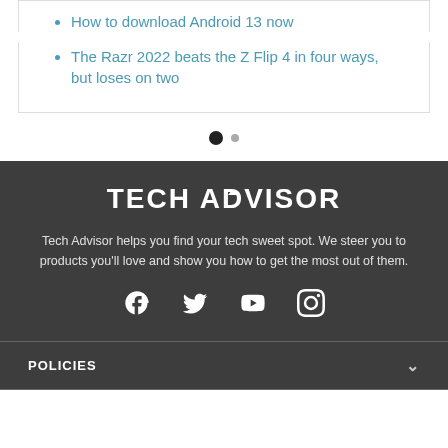How to download Android 13 now
The Razr 2022 beats the Z Flip 4 in four ways, but loses on two
Tech Advisor helps you find your tech sweet spot. We steer you to products you'll love and show you how to get the most out of them.
TECH ADVISOR
POLICIES